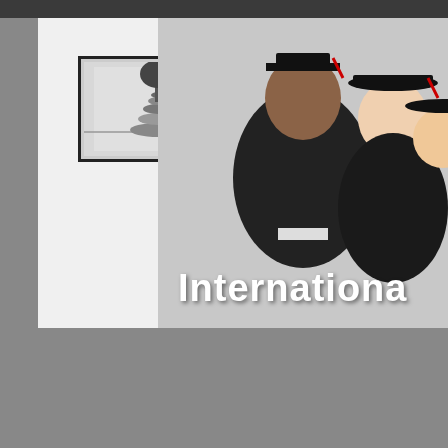[Figure (photo): Website screenshot showing a graduation-themed education website with hero image of graduates in caps and gowns, a small black and white thumbnail photo, overlay text reading 'Internationa...' (truncated), a Classes navigation menu with Home, Our Location, Gift & Coupon Registration items, and a Frequently Asked Questions section starting with 'How come your fees ar...']
Classes
Home
Our Location
Gift & Coupon Registration
Frequentl
How come your fees ar